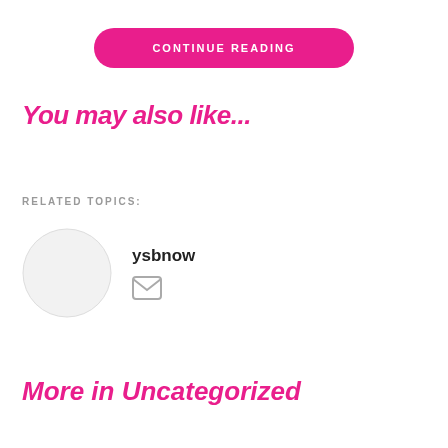CONTINUE READING
You may also like...
RELATED TOPICS:
[Figure (illustration): Circular avatar placeholder (grey circle)]
ysbnow
[Figure (illustration): Email/envelope icon]
More in Uncategorized